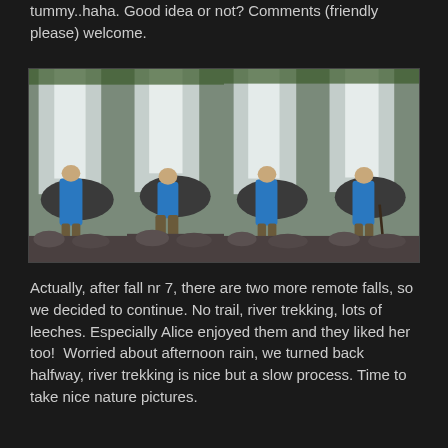tummy..haha. Good idea or not? Comments (friendly please) welcome.
[Figure (photo): Four side-by-side photos of a person in a blue shirt standing in front of a large waterfall, posed differently in each photo]
Actually, after fall nr 7, there are two more remote falls, so we decided to continue. No trail, river trekking, lots of leeches. Especially Alice enjoyed them and they liked her too!  Worried about afternoon rain, we turned back halfway, river trekking is nice but a slow process. Time to take nice nature pictures.